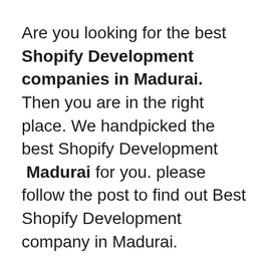Are you looking for the best Shopify Development companies in Madurai. Then you are in the right place. We handpicked the best Shopify Development Madurai for you. please follow the post to find out Best Shopify Development company in Madurai.